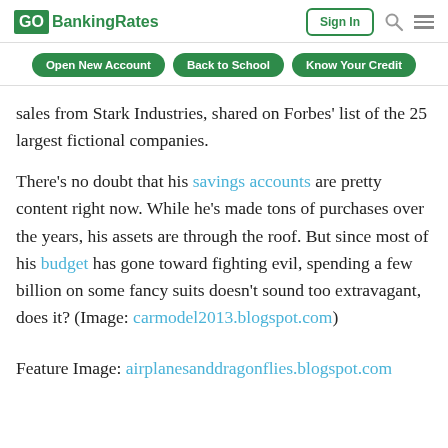GoBankingRates — Sign In
Open New Account
Back to School
Know Your Credit
sales from Stark Industries, shared on Forbes’ list of the 25 largest fictional companies.
There’s no doubt that his savings accounts are pretty content right now. While he’s made tons of purchases over the years, his assets are through the roof. But since most of his budget has gone toward fighting evil, spending a few billion on some fancy suits doesn’t sound too extravagant, does it? (Image: carmodel2013.blogspot.com)
Feature Image: airplanesanddragonflies.blogspot.com